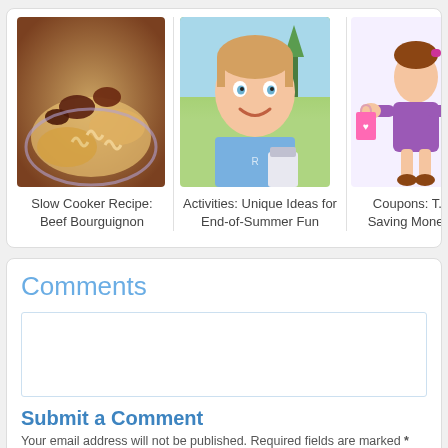[Figure (photo): Food photo: pasta dish - Slow Cooker Recipe: Beef Bourguignon]
Slow Cooker Recipe: Beef Bourguignon
[Figure (photo): Child photo: smiling boy outdoors - Activities: Unique Ideas for End-of-Summer Fun]
Activities: Unique Ideas for End-of-Summer Fun
[Figure (illustration): Cartoon woman with shopping bags - Coupons: Tips for Saving Money]
Coupons: T... Saving Mone...
Comments
Submit a Comment
Your email address will not be published. Required fields are marked *